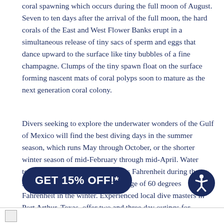coral spawning which occurs during the full moon of August. Seven to ten days after the arrival of the full moon, the hard corals of the East and West Flower Banks erupt in a simultaneous release of tiny sacs of sperm and eggs that dance upward to the surface like tiny bubbles of a fine champagne. Clumps of the tiny spawn float on the surface forming nascent mats of coral polyps soon to mature as the next generation coral colony.
Divers seeking to explore the underwater wonders of the Gulf of Mexico will find the best diving days in the summer season, which runs May through October, or the shorter winter season of mid-February through mid-April. Water temperatures vary from 80 degrees Fahrenheit during the summer months to an annual average of 60 degrees Fahrenheit in the winter. Experienced local dive masters in Port Arthur, Texas, offer two and three day outings for certified divers. All gear and grub are provided. All visitors must also bring sun protection, a sense of joyful adventure, and a sense of wonder.
[Figure (other): Promotional overlay button reading GET 15% OFF!* in white text on dark navy rounded rectangle background]
[Figure (other): Accessibility icon — circular dark navy button with stylized human figure with arms outstretched]
[Figure (other): Bottom image strip with small image placeholder icon at left]